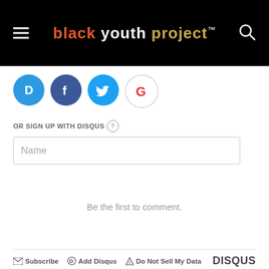black youth project™
[Figure (logo): Social login icons: Disqus (D), Facebook (f), Twitter bird, Google (G)]
OR SIGN UP WITH DISQUS
Name
Be the first to comment.
Subscribe   Add Disqus   Do Not Sell My Data   DISQUS
Sponsored
[Figure (photo): Partially visible sponsored image showing white ceramic objects]